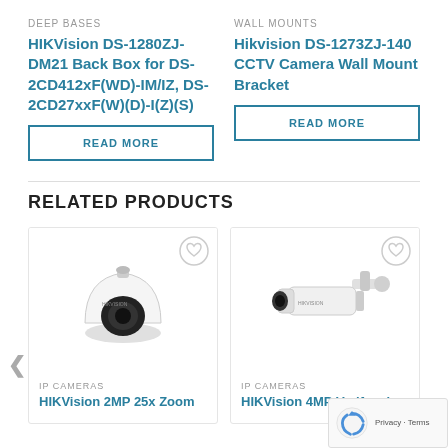DEEP BASES
HIKVision DS-1280ZJ-DM21 Back Box for DS-2CD412xF(WD)-IM/IZ, DS-2CD27xxF(W)(D)-I(Z)(S)
READ MORE
WALL MOUNTS
Hikvision DS-1273ZJ-140 CCTV Camera Wall Mount Bracket
READ MORE
RELATED PRODUCTS
IP CAMERAS
HIKVision 2MP 25x Zoom
IP CAMERAS
HIKVision 4MP Varifocal